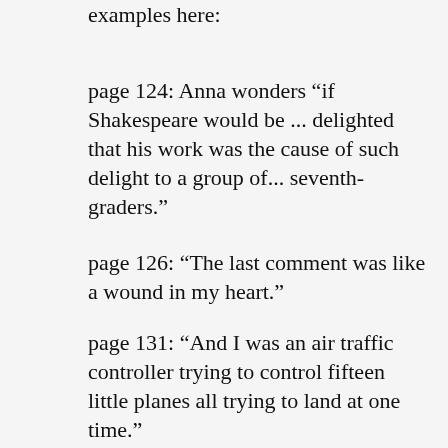examples here:
page 124: Anna wonders “if Shakespeare would be ... delighted that his work was the cause of such delight to a group of... seventh-graders."
page 126: “The last comment was like a wound in my heart."
page 131: “And I was an air traffic controller trying to control fifteen little planes all trying to land at one time."
To compound the problem of such thin prose is the poor editing. Missing punctuation marks, continuity errors, and misused words, such as “My ears were ringing. And when did faux